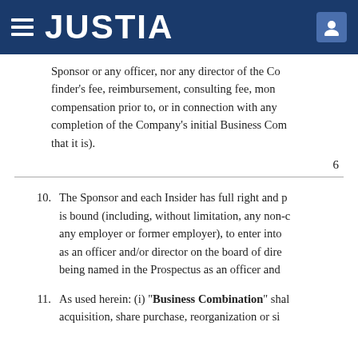JUSTIA
Sponsor or any officer, nor any director of the Company shall be entitled to any finder's fee, reimbursement, consulting fee, monies in respect of any payment or compensation prior to, or in connection with any services they render in order to effectuate, the completion of the Company's initial Business Combination (regardless of the type of transaction that it is).
6
10.  The Sponsor and each Insider has full right and power, without conflict with any obligation it is bound (including, without limitation, any non-competition or non-solicitation covenant with any employer or former employer), to enter into this Agreement and be named and act as an officer and/or director on the board of directors of the Company, including being named in the Prospectus as an officer and/or director of the Company.
11.  As used herein: (i) "Business Combination" shall mean any merger, capital stock exchange, asset acquisition, share purchase, reorganization or similar business combination involving the Company;